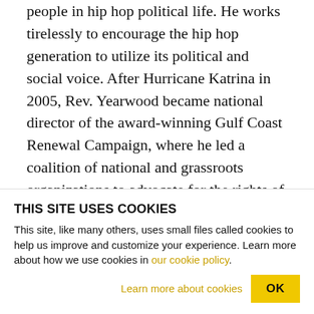people in hip hop political life. He works tirelessly to encourage the hip hop generation to utilize its political and social voice. After Hurricane Katrina in 2005, Rev. Yearwood became national director of the award-winning Gulf Coast Renewal Campaign, where he led a coalition of national and grassroots organizations to advocate for the rights of Katrina survivors. He served as the political and grassroots director of Russell Simmons' Hip Hop Summit Action Network in 2003 and 2004. And in '04 he also was a key architect and implementer of three …
THIS SITE USES COOKIES
This site, like many others, uses small files called cookies to help us improve and customize your experience. Learn more about how we use cookies in our cookie policy.
Learn more about cookies    OK